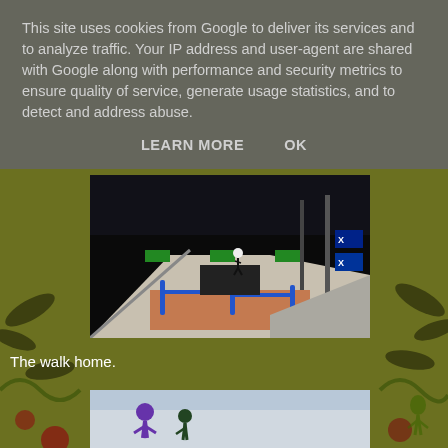This site uses cookies from Google to deliver its services and to analyze traffic. Your IP address and user-agent are shared with Google along with performance and security metrics to ensure quality of service, generate usage statistics, and to detect and address abuse.
LEARN MORE    OK
[Figure (photo): Aerial/elevated view of a skateboard park at night with ramps, rails, and X Games branding visible. A skater is visible near center.]
The walk home.
[Figure (photo): Bottom of page showing illustrated cartoon figures on what appears to be a wall or vehicle surface, with a purple/violet character visible.]